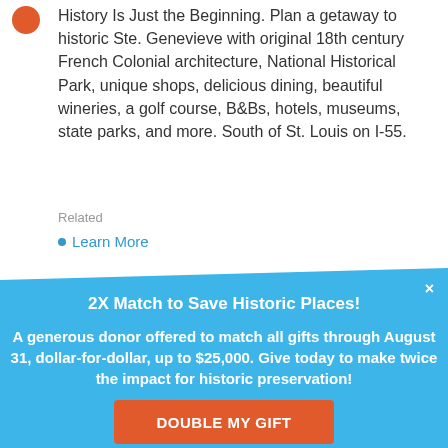History Is Just the Beginning. Plan a getaway to historic Ste. Genevieve with original 18th century French Colonial architecture, National Historical Park, unique shops, delicious dining, beautiful wineries, a golf course, B&Bs, hotels, museums, state parks, and more. South of St. Louis on I-55.
Related
Learn More
2X Match to Save Historic Places!
A generous donor offered to match all gifts through August 31, dollar-for-dollar, up to $25,000. Give today to make twice the impact for historic preservation!
DOUBLE MY GIFT